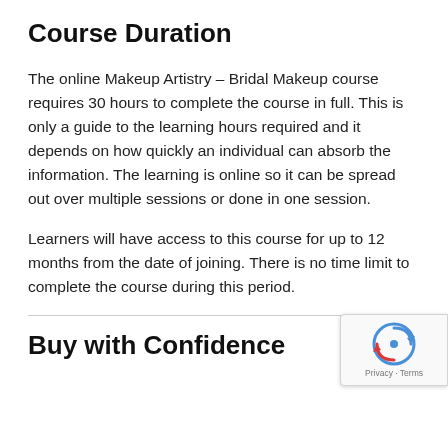Course Duration
The online Makeup Artistry – Bridal Makeup course requires 30 hours to complete the course in full. This is only a guide to the learning hours required and it depends on how quickly an individual can absorb the information. The learning is online so it can be spread out over multiple sessions or done in one session.
Learners will have access to this course for up to 12 months from the date of joining. There is no time limit to complete the course during this period.
Buy with Confidence